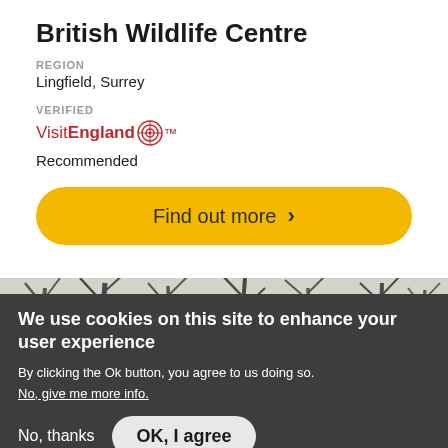British Wildlife Centre
REGION
Lingfield, Surrey
VERIFIED
VisitEngland
Recommended
Find out more >
[Figure (photo): Photograph of bare winter trees with grey-white sky background]
We use cookies on this site to enhance your user experience
By clicking the Ok button, you agree to us doing so.
No, give me more info.
No, thanks    OK, I agree